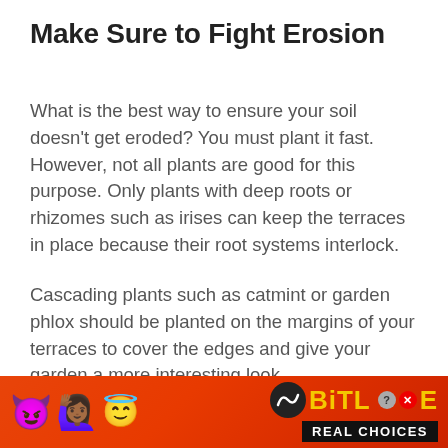Make Sure to Fight Erosion
What is the best way to ensure your soil doesn't get eroded? You must plant it fast. However, not all plants are good for this purpose. Only plants with deep roots or rhizomes such as irises can keep the terraces in place because their root systems interlock.
Cascading plants such as catmint or garden phlox should be planted on the margins of your terraces to cover the edges and give your garden a more interesting look.
[Figure (illustration): Advertisement banner for BitLife mobile game showing emoji characters (devil, woman raising hands, angel emoji) on a red background, with the BitLife logo in yellow text and 'REAL CHOICES' text in white on black.]